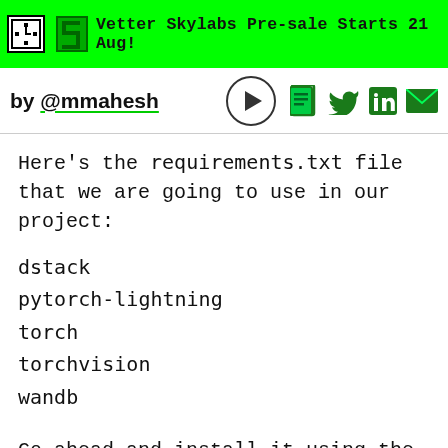Vetter Skylabs Pre-sale Starts 21 Aug!
by @mmahesh
Here's the requirements.txt file that we are going to use in our project:
dstack
pytorch-lightning
torch
torchvision
wandb
Go ahead and install it using the following command:
pip install -r requirements.txt